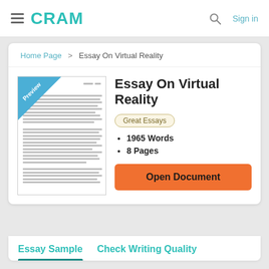CRAM  Sign in
Home Page > Essay On Virtual Reality
[Figure (screenshot): Preview thumbnail of essay document with 'Preview' badge in top-left corner and blurred text lines representing essay content]
Essay On Virtual Reality
Great Essays
1965 Words
8 Pages
Open Document
Essay Sample   Check Writing Quality